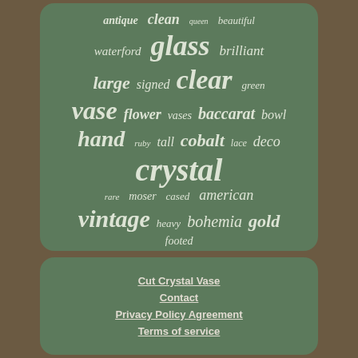[Figure (infographic): Word cloud on a green rounded rectangle background with words related to crystal glass vases: antique, clean, queen, beautiful, waterford, glass, brilliant, large, signed, clear, green, vase, flower, vases, baccarat, bowl, hand, ruby, tall, cobalt, lace, deco, crystal, rare, moser, cased, american, vintage, heavy, bohemia, gold, footed]
Cut Crystal Vase
Contact
Privacy Policy Agreement
Terms of service